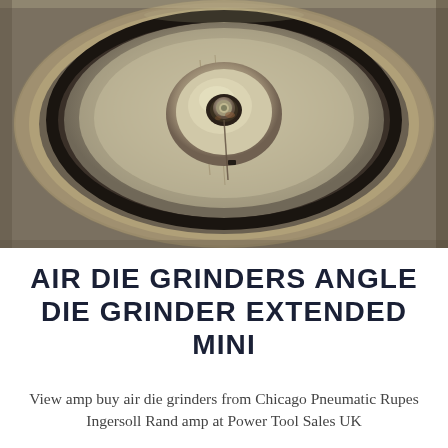[Figure (photo): Close-up photograph of the interior of an air die grinder or grinding wheel hub, showing a circular metallic disc with concentric rings, a central bolt/nut, and worn metal surfaces with scratches and rust. Viewed from the front face of the grinding disc.]
AIR DIE GRINDERS ANGLE DIE GRINDER EXTENDED MINI
View amp buy air die grinders from Chicago Pneumatic Rupes Ingersoll Rand amp at Power Tool Sales UK